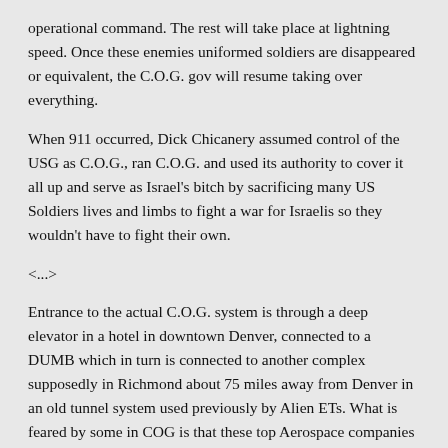operational command. The rest will take place at lightning speed. Once these enemies uniformed soldiers are disappeared or equivalent, the C.O.G. gov will resume taking over everything.
When 911 occurred, Dick Chicanery assumed control of the USG as C.O.G., ran C.O.G. and used its authority to cover it all up and serve as Israel's bitch by sacrificing many US Soldiers lives and limbs to fight a war for Israelis so they wouldn't have to fight their own.
<...>
Entrance to the actual C.O.G. system is through a deep elevator in a hotel in downtown Denver, connected to a DUMB which in turn is connected to another complex supposedly in Richmond about 75 miles away from Denver in an old tunnel system used previously by Alien ETs. What is feared by some in COG is that these top Aerospace companies have been mind controlled and taken over by Alien ETs, their mission is to develop and launch COG based